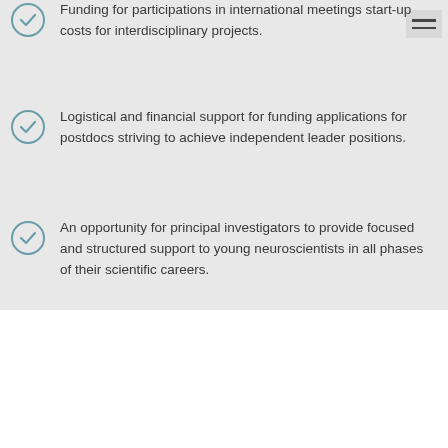Funding for participations in international meetings start-up costs for interdisciplinary projects.
Logistical and financial support for funding applications for postdocs striving to achieve independent leader positions.
An opportunity for principal investigators to provide focused and structured support to young neuroscientists in all phases of their scientific careers.
SPEAKER
Prof. Dr. Marc Schönwiesner